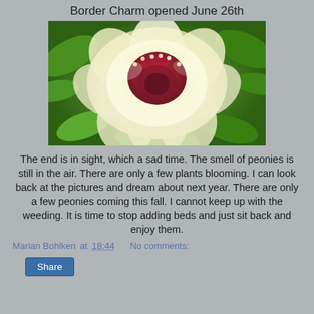Border Charm opened June 26th
[Figure (photo): Close-up photo of a Border Charm peony flower with cream/white petals and a deep red/pink center, surrounded by green leaves.]
The end is in sight, which a sad time.  The smell of peonies is still in the air.  There are only a few plants blooming.  I can look back at the pictures and dream about next year.  There are only a few peonies coming this fall.  I cannot keep up with the weeding.  It is time to stop adding beds and just sit back and enjoy them.
Marian Bohlken at 18:44    No comments:
Share